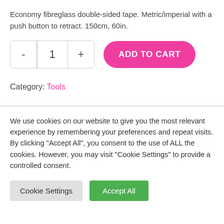Economy fibreglass double-sided tape. Metric/imperial with a push button to retract. 150cm, 60in.
[Figure (other): Quantity selector with minus and plus buttons showing value 1, and a pink Add to Cart button]
Category: Tools
We use cookies on our website to give you the most relevant experience by remembering your preferences and repeat visits. By clicking "Accept All", you consent to the use of ALL the cookies. However, you may visit "Cookie Settings" to provide a controlled consent.
[Figure (other): Cookie consent buttons: Cookie Settings (grey) and Accept All (green)]